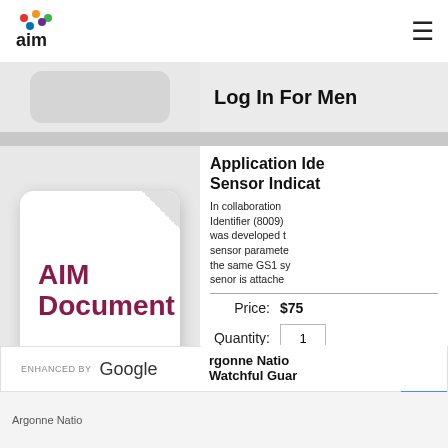AIM logo and navigation hamburger menu
Log In For Men
[Figure (illustration): AIM Document icon - white paper/document with curled corner, showing 'AIM Document' text in dark red/maroon on light background]
Application Ide Sensor Indicat
In collaboration Identifier (8009) was developed t sensor paramete the same GS1 sy senor is attache
Price:   $75
Quantity:   1
Add To Ca
ENHANCED BY Google
rgonne Natio Watchful Guard
Argonne Natio